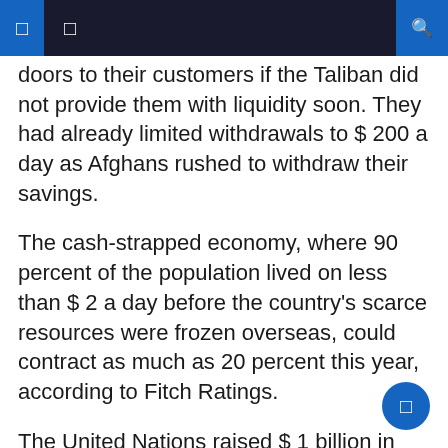doors to their customers if the Taliban did not provide them with liquidity soon. They had already limited withdrawals to $ 200 a day as Afghans rushed to withdraw their savings.
The cash-strapped economy, where 90 percent of the population lived on less than $ 2 a day before the country's scarce resources were frozen overseas, could contract as much as 20 percent this year, according to Fitch Ratings.
The United Nations raised $ 1 billion in humanitarian aid pledges to Afghanistan this month, but this aid is intended to be provided